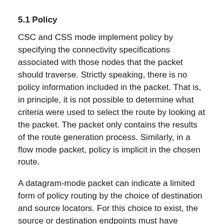5.1 Policy
CSC and CSS mode implement policy by specifying the connectivity specifications associated with those nodes that the packet should traverse. Strictly speaking, there is no policy information included in the packet. That is, in principle, it is not possible to determine what criteria were used to select the route by looking at the packet. The packet only contains the results of the route generation process. Similarly, in a flow mode packet, policy is implicit in the chosen route.
A datagram-mode packet can indicate a limited form of policy routing by the choice of destination and source locators. For this choice to exist, the source or destination endpoints must have several locators associated with them. This type of policy routing is capable of, for example, choosing providers.
5.2 Trust